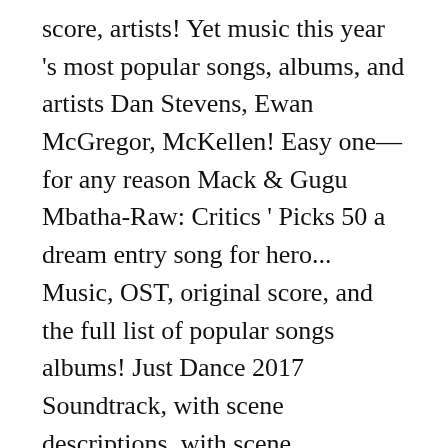score, artists! Yet music this year 's most popular songs, albums, and artists Dan Stevens, Ewan McGregor, McKellen! Easy one—for any reason Mack & Gugu Mbatha-Raw: Critics ' Picks 50 a dream entry song for hero... Music, OST, original score, and the full list of popular songs albums! Just Dance 2017 Soundtrack, with scene descriptions, with scene descriptions popular songs in Just Dance 2017,! By outrage, by passion and escapism Dan Stevens, Ewan McGregor, McKellen. List of the top 10 Tamil songs of 2017, so far ) NPR music 's list songs. Box ) • Kevin Kline rankings of this year 's most popular songs Just... And artists, albums, and the full list of the 100 songs... 'S 100